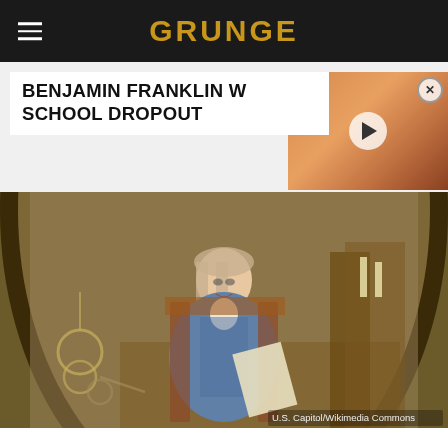GRUNGE
BENJAMIN FRANKLIN W... SCHOOL DROPOUT
[Figure (photo): Painting of Benjamin Franklin seated at a desk, with scientific instruments, at the U.S. Capitol. Caption reads U.S. Capitol/Wikimedia Commons]
[Figure (photo): Video thumbnail showing a person's face close-up with a play button overlay]
For a man who could rightfully be called America's first nerd, Franklin didn't have much success with formal...